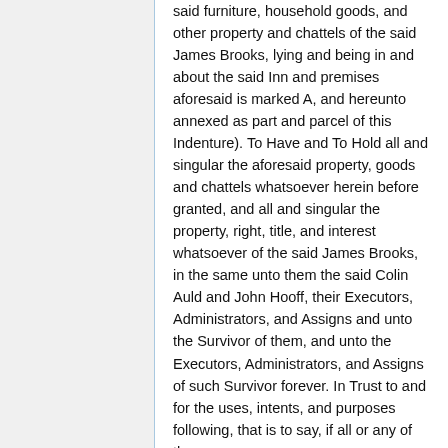said furniture, household goods, and other property and chattels of the said James Brooks, lying and being in and about the said Inn and premises aforesaid is marked A, and hereunto annexed as part and parcel of this Indenture). To Have and To Hold all and singular the aforesaid property, goods and chattels whatsoever herein before granted, and all and singular the property, right, title, and interest whatsoever of the said James Brooks, in the same unto them the said Colin Auld and John Hooff, their Executors, Administrators, and Assigns and unto the Survivor of them, and unto the Executors, Administrators, and Assigns of such Survivor forever. In Trust to and for the uses, intents, and purposes following, that is to say, if all or any of the